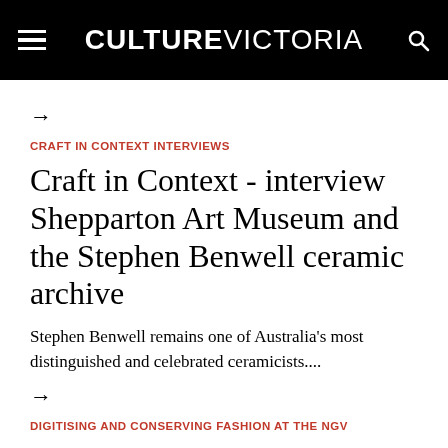CULTURE VICTORIA
→
CRAFT IN CONTEXT INTERVIEWS
Craft in Context - interview Shepparton Art Museum and the Stephen Benwell ceramic archive
Stephen Benwell remains one of Australia's most distinguished and celebrated ceramicists....
→
DIGITISING AND CONSERVING FASHION AT THE NGV
C…